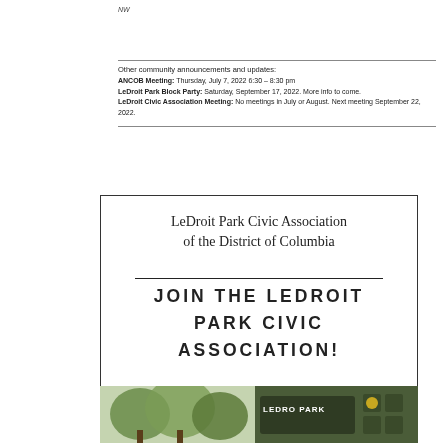NW
Other community announcements and updates:
ANCOB Meeting: Thursday, July 7, 2022 6:30 – 8:30 pm
LeDroit Park Block Party: Saturday, September 17, 2022. More info to come.
LeDroit Civic Association Meeting: No meetings in July or August. Next meeting September 22, 2022.
LeDroit Park Civic Association of the District of Columbia
JOIN THE LEDROIT PARK CIVIC ASSOCIATION!
[Figure (photo): Two photos side by side: left shows trees/greenery, right shows a LeDroit Park sign]